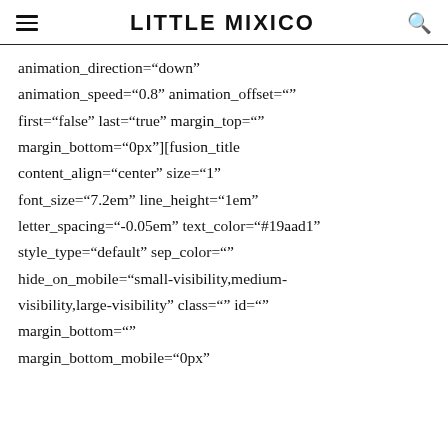LITTLE MIXICO
animation_direction="down" animation_speed="0.8" animation_offset="" first="false" last="true" margin_top="" margin_bottom="0px"][fusion_title content_align="center" size="1" font_size="7.2em" line_height="1em" letter_spacing="-0.05em" text_color="#19aad1" style_type="default" sep_color="" hide_on_mobile="small-visibility,medium-visibility,large-visibility" class="" id="" margin_bottom="" margin_bottom_mobile="0px"